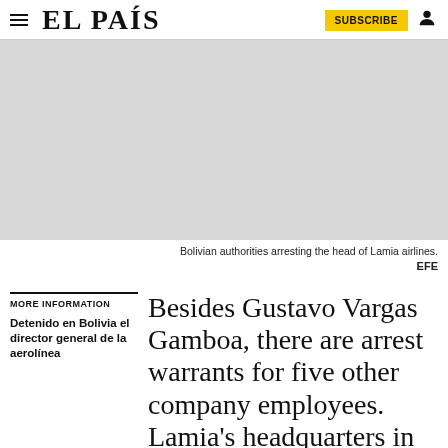EL PAÍS
[Figure (photo): Bolivian authorities arresting the head of Lamia airlines. Photo area shown as grey placeholder.]
Bolivian authorities arresting the head of Lamia airlines.
EFE
MORE INFORMATION
Detenido en Bolivia el director general de la aerolínea
Besides Gustavo Vargas Gamboa, there are arrest warrants for five other company employees. Lamia's headquarters in Santa Cruz